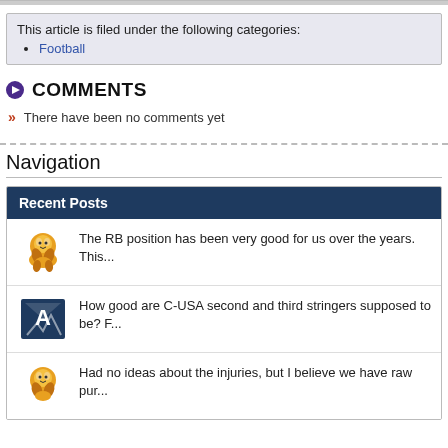This article is filed under the following categories:
Football
COMMENTS
There have been no comments yet
Navigation
Recent Posts
The RB position has been very good for us over the years. This...
How good are C-USA second and third stringers supposed to be? F...
Had no ideas about the injuries, but I believe we have raw pur...